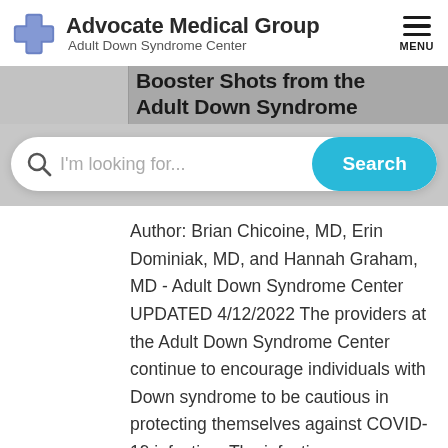[Figure (logo): Advocate Medical Group Adult Down Syndrome Center logo with blue cross icon]
[Figure (screenshot): Partial banner text reading 'Booster Shots from the Adult Down Syndrome' partially obscured]
[Figure (screenshot): Search bar with 'I'm looking for...' placeholder text and cyan Search button]
Author: Brian Chicoine, MD, Erin Dominiak, MD, and Hannah Graham, MD - Adult Down Syndrome Center UPDATED 4/12/2022 The providers at the Adult Down Syndrome Center continue to encourage individuals with Down syndrome to be cautious in protecting themselves against COVID-19 infection. The infection